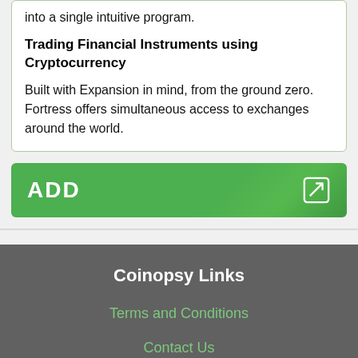into a single intuitive program.
Trading Financial Instruments using Cryptocurrency
Built with Expansion in mind, from the ground zero. Fortress offers simultaneous access to exchanges around the world.
ADD
Coinopsy Links
Terms and Conditions
Contact Us
Dead Coins